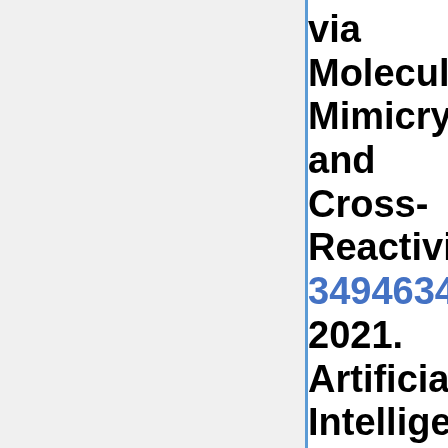via Molecular Mimicry and Cross-Reactivity 349463400 2021. Artificial Intelligence for Forecast